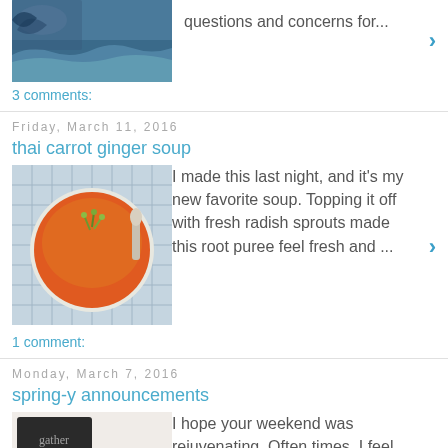[Figure (photo): Ocean/coastal photo thumbnail]
questions and concerns for...
3 comments:
Friday, March 11, 2016
thai carrot ginger soup
[Figure (photo): Bowl of orange soup with sprouts on top, viewed from above]
I made this last night, and it's my new favorite soup. Topping it off with fresh radish sprouts made this root puree feel fresh and ...
1 comment:
Monday, March 7, 2016
spring-y announcements
[Figure (photo): Craft/stationery items with 'gather' text, bird illustration]
I hope your weekend was rejuvenating. Often times, I feel like I spend Saturday and Sunday catching up on laundry, cleaning, sleep and wor...